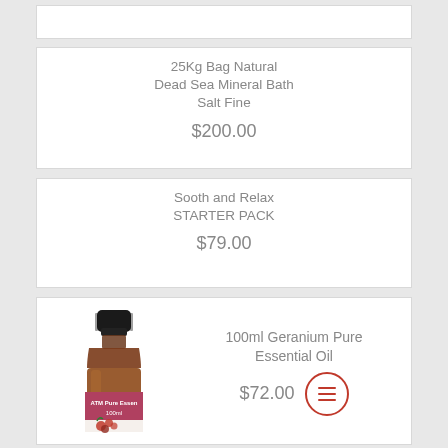[Figure (other): Partial product card at top of page]
25Kg Bag Natural Dead Sea Mineral Bath Salt Fine
$200.00
Sooth and Relax STARTER PACK
$79.00
[Figure (photo): Amber glass dropper bottle labeled 'ATM Pure Essen 100ml' with red berry image]
100ml Geranium Pure Essential Oil
$72.00